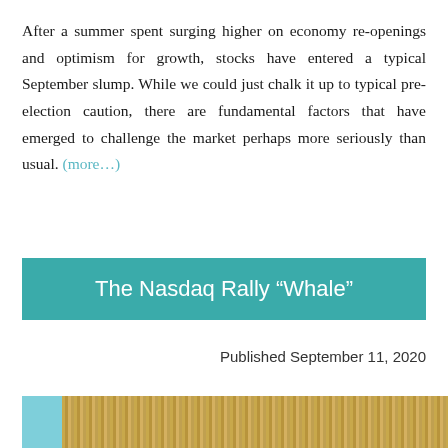After a summer spent surging higher on economy re-openings and optimism for growth, stocks have entered a typical September slump. While we could just chalk it up to typical pre-election caution, there are fundamental factors that have emerged to challenge the market perhaps more seriously than usual. (more…)
The Nasdaq Rally “Whale”
Published September 11, 2020
[Figure (photo): Partial image strip showing a teal/blue section on the left and a textured golden/brick pattern on the right, cropped at the bottom of the page.]